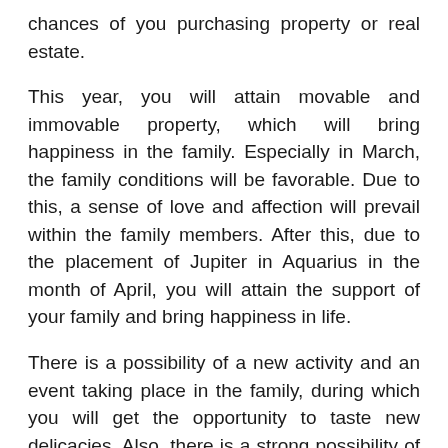chances of you purchasing property or real estate.
This year, you will attain movable and immovable property, which will bring happiness in the family. Especially in March, the family conditions will be favorable. Due to this, a sense of love and affection will prevail within the family members. After this, due to the placement of Jupiter in Aquarius in the month of April, you will attain the support of your family and bring happiness in life.
There is a possibility of a new activity and an event taking place in the family, during which you will get the opportunity to taste new delicacies. Also, there is a strong possibility of childbirth or marriage in family, which will bring loads of happiness and positivity. Although during this time, guests may arrive, but a rise in our